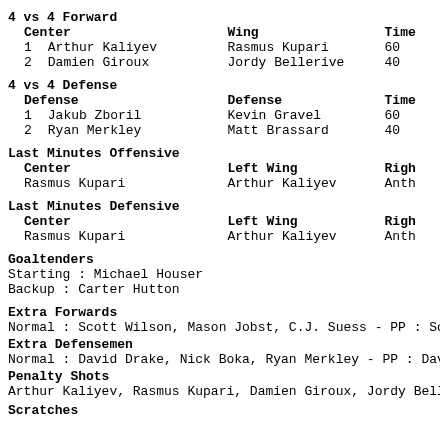4 vs 4 Forward
| Center | Wing | Time |
| --- | --- | --- |
| 1 Arthur Kaliyev | Rasmus Kupari | 60 |
| 2 Damien Giroux | Jordy Bellerive | 40 |
4 vs 4 Defense
| Defense | Defense | Time |
| --- | --- | --- |
| 1 Jakub Zboril | Kevin Gravel | 60 |
| 2 Ryan Merkley | Matt Brassard | 40 |
Last Minutes Offensive
| Center | Left Wing | Right |
| --- | --- | --- |
| Rasmus Kupari | Arthur Kaliyev | Anth |
Last Minutes Defensive
| Center | Left Wing | Right |
| --- | --- | --- |
| Rasmus Kupari | Arthur Kaliyev | Anth |
Goaltenders
Starting : Michael Houser
Backup : Carter Hutton
Extra Forwards
Normal : Scott Wilson, Mason Jobst, C.J. Suess - PP : Sco
Extra Defensemen
Normal : David Drake, Nick Boka, Ryan Merkley - PP : Davi
Penalty Shots
Arthur Kaliyev, Rasmus Kupari, Damien Giroux, Jordy Belle
Scratches